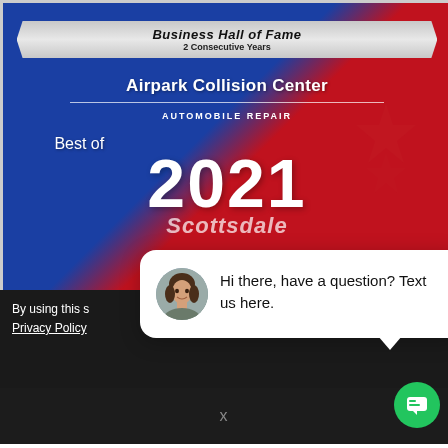[Figure (photo): Award plaque photo showing 'Business Hall of Fame - 2 Consecutive Years' ribbon at top, 'Airpark Collision Center' name, 'AUTOMOBILE REPAIR' category, 'Best of 2021 Scottsdale' text on a blue and red crystal trophy. A 'close' button overlay appears at bottom right of the image.]
By using this site, you agree to our Privacy Policy
[Figure (screenshot): Chat widget popup with avatar photo of a woman and message: 'Hi there, have a question? Text us here.']
x